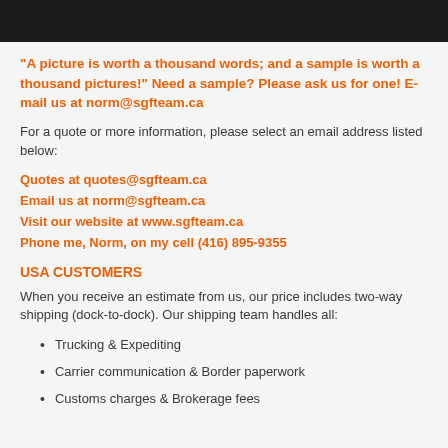[Figure (photo): Dark image at top of page, cropped photo with dark background]
“A picture is worth a thousand words; and a sample is worth a thousand pictures!” Need a sample? Please ask us for one! E-mail us at norm@sgfteam.ca
For a quote or more information, please select an email address listed below:
Quotes at quotes@sgfteam.ca
Email us at norm@sgfteam.ca
Visit our website at www.sgfteam.ca
Phone me, Norm, on my cell (416) 895-9355
USA CUSTOMERS
When you receive an estimate from us, our price includes two-way shipping (dock-to-dock). Our shipping team handles all:
Trucking & Expediting
Carrier communication & Border paperwork
Customs charges & Brokerage fees